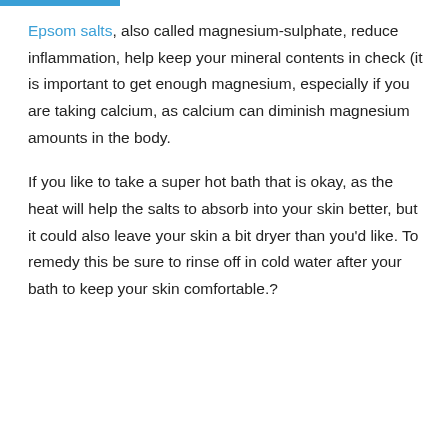Epsom salts, also called magnesium-sulphate, reduce inflammation, help keep your mineral contents in check (it is important to get enough magnesium, especially if you are taking calcium, as calcium can diminish magnesium amounts in the body.
If you like to take a super hot bath that is okay, as the heat will help the salts to absorb into your skin better, but it could also leave your skin a bit dryer than you'd like. To remedy this be sure to rinse off in cold water after your bath to keep your skin comfortable.?